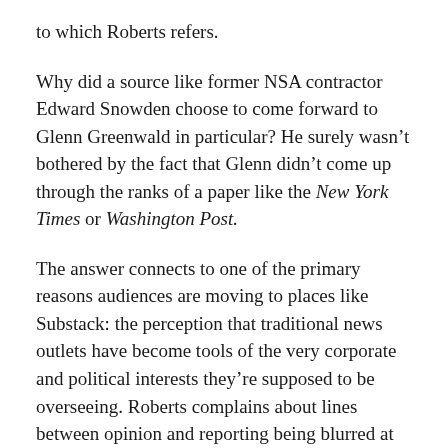to which Roberts refers.
Why did a source like former NSA contractor Edward Snowden choose to come forward to Glenn Greenwald in particular? He surely wasn’t bothered by the fact that Glenn didn’t come up through the ranks of a paper like the New York Times or Washington Post.
The answer connects to one of the primary reasons audiences are moving to places like Substack: the perception that traditional news outlets have become tools of the very corporate and political interests they’re supposed to be overseeing. Roberts complains about lines between opinion and reporting being blurred at Substack (an absurd comment on its own, but that’s a separate issue), but the “blurring” problem at those other organizations is far more severe. Are newspapers